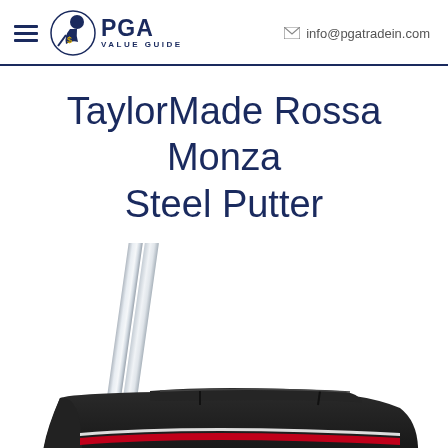PGA VALUE GUIDE — info@pgatradein.com
TaylorMade Rossa Monza Steel Putter
[Figure (photo): Close-up photo of a TaylorMade Rossa Monza Steel Putter showing the chrome shaft and black putter head with red accent stripe]